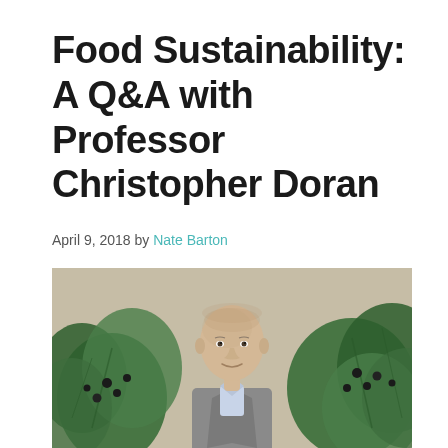Food Sustainability: A Q&A with Professor Christopher Doran
April 9, 2018 by Nate Barton
[Figure (photo): Portrait photograph of Professor Christopher Doran, a bald Caucasian man in a grey blazer and light blue shirt, smiling, standing in front of green leafy plants against a beige/stone wall background.]